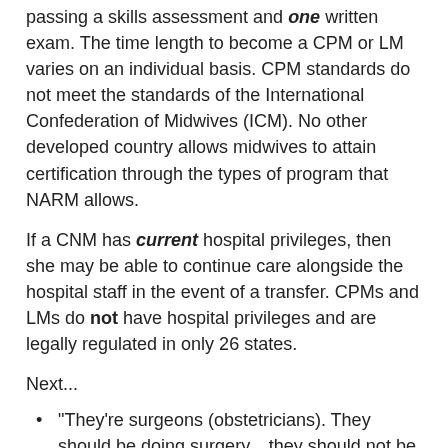passing a skills assessment and one written exam. The time length to become a CPM or LM varies on an individual basis. CPM standards do not meet the standards of the International Confederation of Midwives (ICM). No other developed country allows midwives to attain certification through the types of program that NARM allows.
If a CNM has current hospital privileges, then she may be able to continue care alongside the hospital staff in the event of a transfer. CPMs and LMs do not have hospital privileges and are legally regulated in only 26 states.
Next...
"They're surgeons (obstetricians). They should be doing surgery... they should not be doing normal births." This is a quote made by Elan Vital McAllister. This sentiment has been echoed many, many times by home birth advocates.
Yes, surgery is one aspect of the job of an obstetrician. It doesn't mean that every OB prefers surgery or even likes